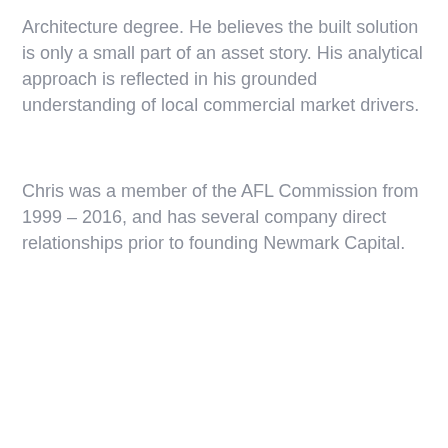Architecture degree. He believes the built solution is only a small part of an asset story. His analytical approach is reflected in his grounded understanding of local commercial market drivers.
Chris was a member of the AFL Commission from 1999 – 2016, and has several company direct relationships prior to founding Newmark Capital.